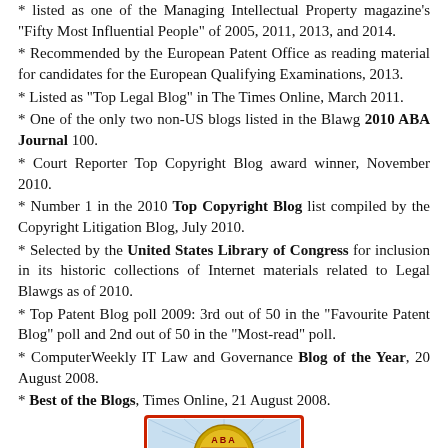listed as one of the Managing Intellectual Property magazine's "Fifty Most Influential People" of 2005, 2011, 2013, and 2014.
Recommended by the European Patent Office as reading material for candidates for the European Qualifying Examinations, 2013.
Listed as "Top Legal Blog" in The Times Online, March 2011.
One of the only two non-US blogs listed in the Blawg 2010 ABA Journal 100.
Court Reporter Top Copyright Blog award winner, November 2010.
Number 1 in the 2010 Top Copyright Blog list compiled by the Copyright Litigation Blog, July 2010.
Selected by the United States Library of Congress for inclusion in its historic collections of Internet materials related to Legal Blawgs as of 2010.
Top Patent Blog poll 2009: 3rd out of 50 in the "Favourite Patent Blog" poll and 2nd out of 50 in the "Most-read" poll.
ComputerWeekly IT Law and Governance Blog of the Year, 20 August 2008.
Best of the Blogs, Times Online, 21 August 2008.
[Figure (logo): ABA Journal Blawg 100 badge/seal logo with gold medal design and red border]